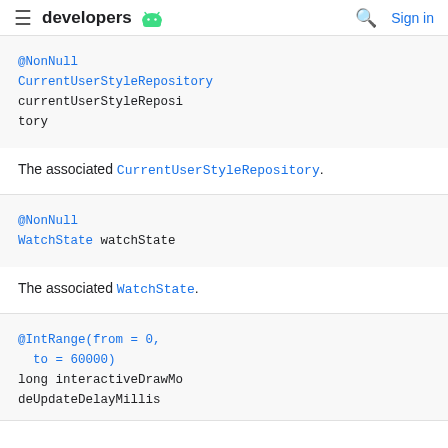developers
@NonNull
CurrentUserStyleRepository
currentUserStyleRepository
The associated CurrentUserStyleRepository.
@NonNull
WatchState watchState
The associated WatchState.
@IntRange(from = 0,
  to = 60000)
long interactiveDrawModeUpdateDelayMillis